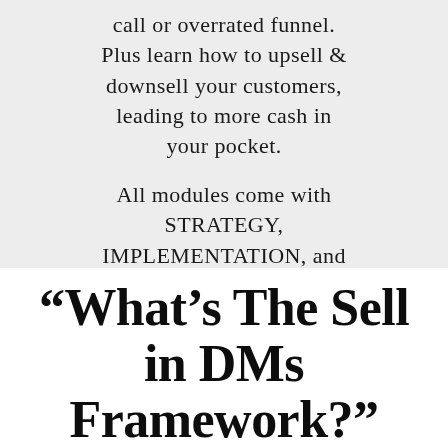call or overrated funnel. Plus learn how to upsell & downsell your customers, leading to more cash in your pocket.
All modules come with STRATEGY, IMPLEMENTATION, and SWIPE-COPY.
“What’s The Sell in DMs Framework?”